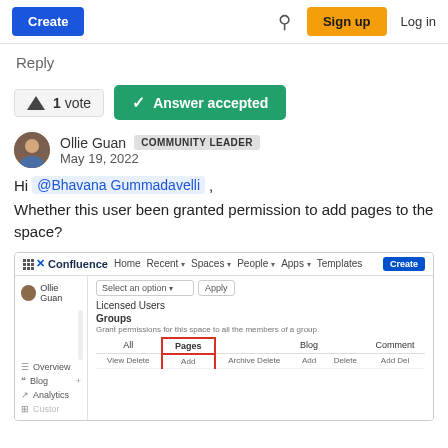Create | Search | Sign up | Log in
Reply
1 vote | Answer accepted
Ollie Guan  COMMUNITY LEADER  May 19, 2022
Hi @Bhavana Gummadavelli ,
Whether this user been granted permission to add pages to the space?
[Figure (screenshot): Screenshot of Confluence space permissions settings showing Licensed Users section with Groups table, columns for All, Pages (highlighted with red border), Blog, Comment. Rows show View, Delete, Add, Archive, Delete, Add, Delete, Add, Del labels.]